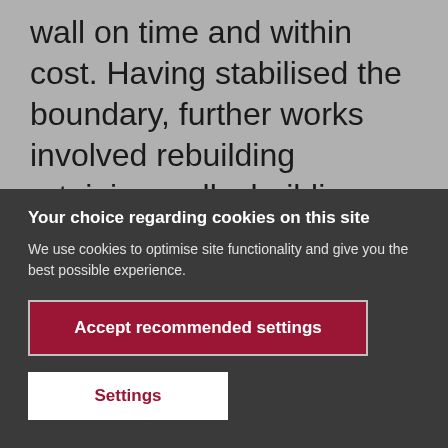wall on time and within cost. Having stabilised the boundary, further works involved rebuilding retaining walls, building terraced gardens (involving installing RSJ verticals and sleeper walls), new blockwork
Your choice regarding cookies on this site
We use cookies to optimise site functionality and give you the best possible experience.
Accept recommended settings
Settings